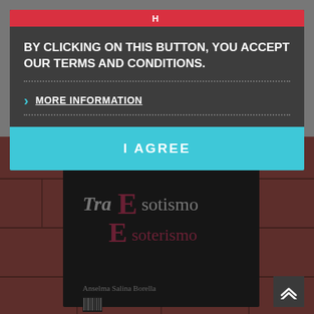[Figure (screenshot): Cookie/terms consent modal overlay on a webpage. Dark gray modal box with red top bar containing a 'H' icon. Modal contains white bold text 'BY CLICKING ON THIS BUTTON, YOU ACCEPT OUR TERMS AND CONDITIONS.' with a dotted divider, a '> MORE INFORMATION' underlined link in white, another dotted divider, and a large cyan/teal 'I AGREE' button. Below the modal overlay is a photograph of a book titled 'Tra Esoterismo Esoterismo' by Anselma Salina Borello on a red tiled floor. A dark back-to-top button with double chevron arrows is in the bottom right.]